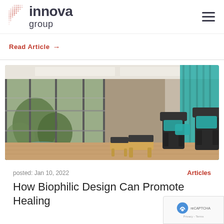innova group
Read Article →
[Figure (photo): Interior of a modern spa or wellness facility showing chairs with teal cushions, wood flooring, floor-to-ceiling glass windows with view of a garden/courtyard, and teal hanging curtains on the right side.]
posted: Jan 10, 2022    Articles
How Biophilic Design Can Promote Healing